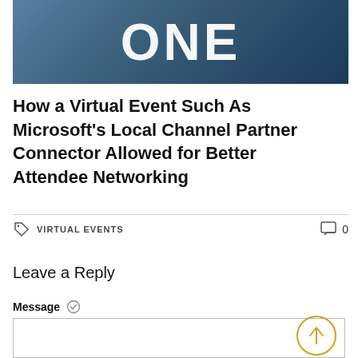[Figure (photo): Hero banner image with text 'ONE' displayed in large white bold letters over a dark blue background with a person visible in the background.]
How a Virtual Event Such As Microsoft's Local Channel Partner Connector Allowed for Better Attendee Networking
VIRTUAL EVENTS   0
Leave a Reply
Message ✓